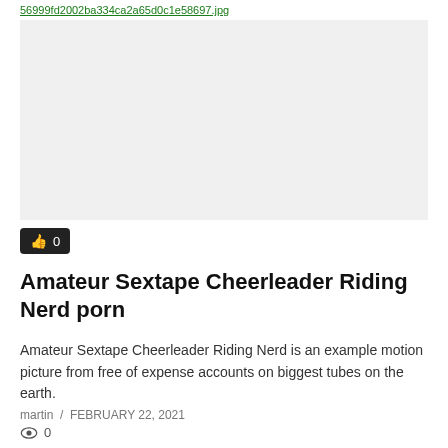56999fd2002ba334ca2a65d0c1e58697.jpg
[Figure (photo): Placeholder image area for video thumbnail]
👍 0
Amateur Sextape Cheerleader Riding Nerd porn
Amateur Sextape Cheerleader Riding Nerd is an example motion picture from free of expense accounts on biggest tubes on the earth.
martin / FEBRUARY 22, 2021
👁 0